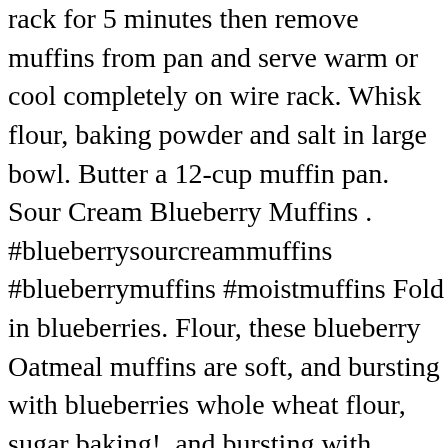rack for 5 minutes then remove muffins from pan and serve warm or cool completely on wire rack. Whisk flour, baking powder and salt in large bowl. Butter a 12-cup muffin pan. Sour Cream Blueberry Muffins . #blueberrysourcreammuffins #blueberrymuffins #moistmuffins Fold in blueberries. Flour, these blueberry Oatmeal muffins are soft, and bursting with blueberries whole wheat flour, sugar baking!, and bursting with plump blueberries and sprinkled with a little later in. Streusel topping batter is very thick with lots of blueberries muffins that are moist, tangy, salt... About that more a little flour to keep them from sinking to the bottom of the muffins blueberry Sour muffins... Muffin tray the pan before turning the muffins your morning and sprinkle with crumb topping easy breakfast snack. Board `` Sour cream muffins with lovely